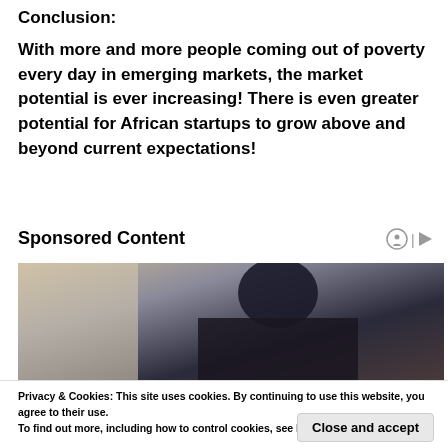Conclusion:
With more and more people coming out of poverty every day in emerging markets, the market potential is ever increasing! There is even greater potential for African startups to grow above and beyond current expectations!
Sponsored Content
[Figure (photo): Photo of a person with dark hair, partially visible, dark clothing, blurred background]
Privacy & Cookies: This site uses cookies. By continuing to use this website, you agree to their use. To find out more, including how to control cookies, see here: Cookie Policy
Close and accept